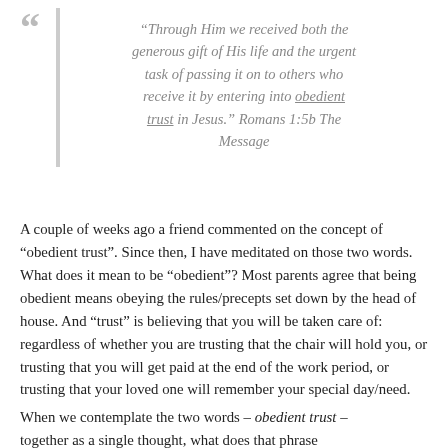“Through Him we received both the generous gift of His life and the urgent task of passing it on to others who receive it by entering into obedient trust in Jesus.” Romans 1:5b The Message
A couple of weeks ago a friend commented on the concept of “obedient trust”. Since then, I have meditated on those two words. What does it mean to be “obedient”? Most parents agree that being obedient means obeying the rules/precepts set down by the head of house. And “trust” is believing that you will be taken care of: regardless of whether you are trusting that the chair will hold you, or trusting that you will get paid at the end of the work period, or trusting that your loved one will remember your special day/need.
When we contemplate the two words – obedient trust – together as a single thought, what does that phrase...